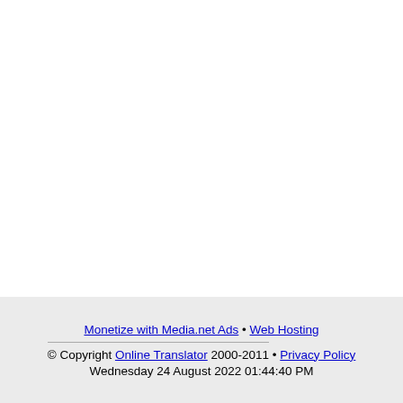Monetize with Media.net Ads • Web Hosting
© Copyright Online Translator 2000-2011 • Privacy Policy
Wednesday 24 August 2022 01:44:40 PM